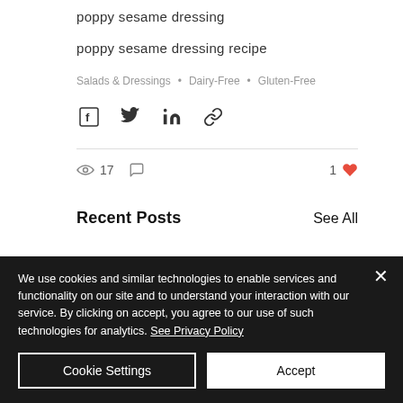poppy sesame dressing
poppy sesame dressing recipe
Salads & Dressings  •  Dairy-Free  •  Gluten-Free
[Figure (infographic): Social share buttons: Facebook, Twitter, LinkedIn, Link]
17 views, 0 comments, 1 like
Recent Posts
See All
We use cookies and similar technologies to enable services and functionality on our site and to understand your interaction with our service. By clicking on accept, you agree to our use of such technologies for analytics. See Privacy Policy
Cookie Settings
Accept